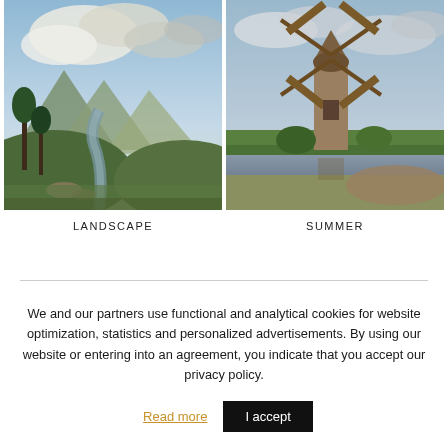[Figure (illustration): Landscape painting showing mountains, a river valley, lush green trees, and dramatic cloudy sky — classical oil painting style]
LANDSCAPE
[Figure (illustration): Painting of a Dutch windmill near a waterway with green fields and overcast sky — impressionist style]
SUMMER
We and our partners use functional and analytical cookies for website optimization, statistics and personalized advertisements. By using our website or entering into an agreement, you indicate that you accept our privacy policy.
Read more
I accept